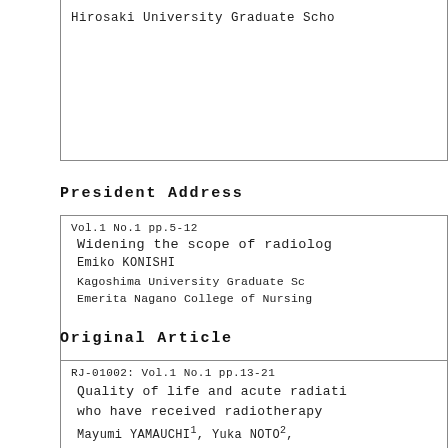Hirosaki University Graduate Scho...
President Address
Vol.1 No.1 pp.5-12
Widening the scope of radiolog...
Emiko KONISHI
Kagoshima University Graduate Sc... Emerita Nagano College of Nursing...
Original Article
RJ-01002: Vol.1 No.1 pp.13-21
Quality of life and acute radiati... who have received radiotherapy...
Mayumi YAMAUCHI¹, Yuka NOTO²,